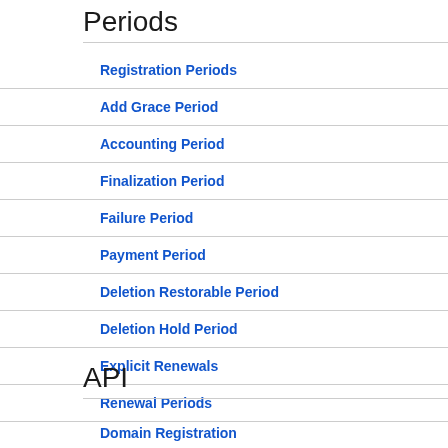Periods
Registration Periods
Add Grace Period
Accounting Period
Finalization Period
Failure Period
Payment Period
Deletion Restorable Period
Deletion Hold Period
Explicit Renewals
Renewal Periods
API
Domain Registration